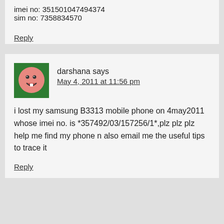imei no: 351501047494374
sim no: 7358834570
Reply
darshana says
May 4, 2011 at 11:56 pm
[Figure (illustration): Cartoon smiley face avatar on green background]
i lost my samsung B3313 mobile phone on 4may2011 whose imei no. is *357492/03/157256/1*,plz plz plz help me find my phone n also email me the useful tips to trace it
Reply